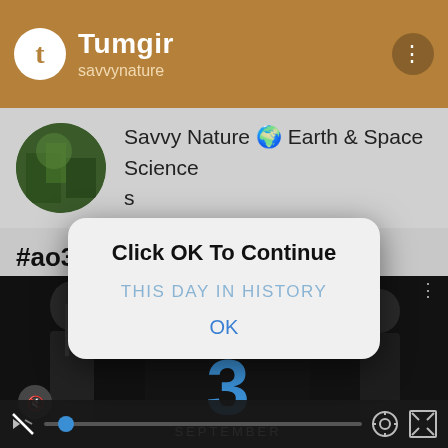Tumgir
savvynature
Savvy Nature 🌍 Earth & Space Sciences
#ao3
[Figure (screenshot): Video player showing 'This Day in History' with a large number 3 and the word SEPTEMBER, play button, mute icon, progress bar, settings and fullscreen controls. Two figures visible on left and right sides.]
Click OK To Continue
THIS DAY IN HISTORY
OK